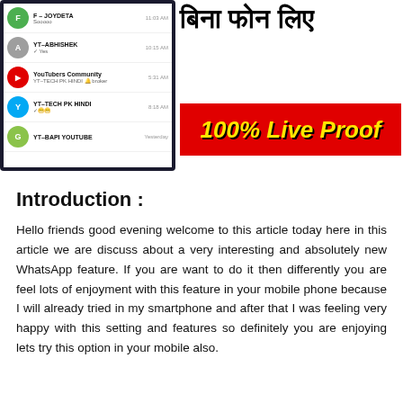[Figure (screenshot): Thumbnail image showing a WhatsApp chat list screenshot on the left, and Hindi text 'बिना फोन लिए' in bold black on white background on the right, with a red banner below showing '100% Live Proof' in yellow bold italic text.]
Introduction :
Hello friends good evening welcome to this article today here in this article we are discuss about a very interesting and absolutely new WhatsApp feature. If you are want to do it then differently you are feel lots of enjoyment with this feature in your mobile phone because I will already tried in my smartphone and after that I was feeling very happy with this setting and features so definitely you are enjoying lets try this option in your mobile also.